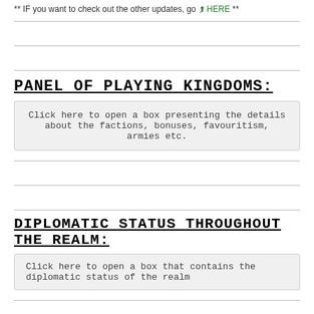** IF you want to check out the other updates, go HERE **
PANEL OF PLAYING KINGDOMS:
Click here to open a box presenting the details about the factions, bonuses, favouritism, armies etc.
DIPLOMATIC STATUS THROUGHOUT THE REALM:
Click here to open a box that contains the diplomatic status of the realm